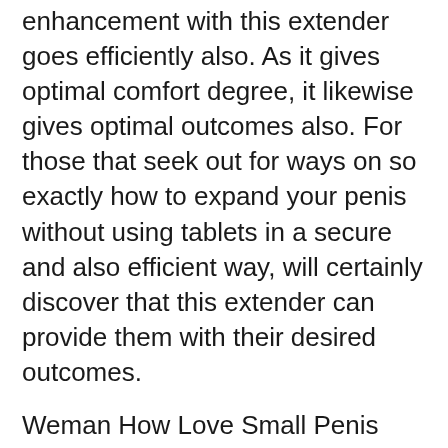enhancement with this extender goes efficiently also. As it gives optimal comfort degree, it likewise gives optimal outcomes also. For those that seek out for ways on so exactly how to expand your penis without using tablets in a secure and also efficient way, will certainly discover that this extender can provide them with their desired outcomes.
Weman How Love Small Penis
Free shipping: Sometimes, the products are not that pricey than the shipping fees. Now you can obtain a hold over this medical tool that has verified to offer ensured results without worrying about the delivery fees. In addition to this the extender promises return